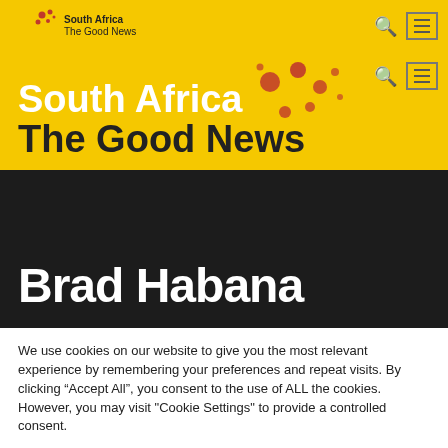South Africa The Good News
South Africa
The Good News
Brad Habana
We use cookies on our website to give you the most relevant experience by remembering your preferences and repeat visits. By clicking “Accept All”, you consent to the use of ALL the cookies. However, you may visit "Cookie Settings" to provide a controlled consent.